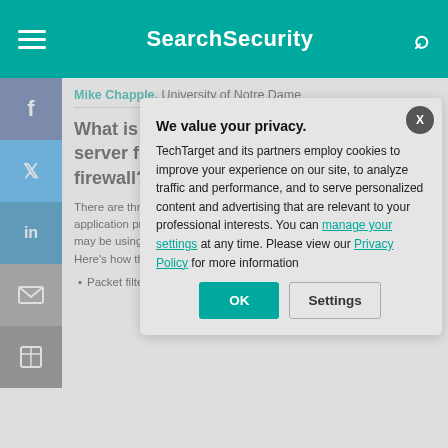SearchSecurity
Mike Chapple, University of Notre Dame
What is the difference between a proxy server firewall and a gateway server firewall? And when should each be used?
There are three main types of firewalls: packet filtering firewalls, application proxy firewalls, and stateful packet filtering firewalls. You may be using the term gateway firewall to refer to one of these three approaches. Application proxy firewalls are the most sophisticated, offering greater protection, but at a cost of performance. Here's how they compare:
Packet filtering firewalls are the oldest firewall technology a...
[Figure (screenshot): Privacy consent modal overlay: 'We value your privacy.' with OK and Settings buttons]